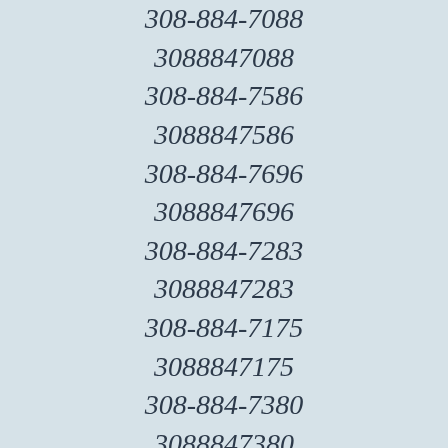308-884-7088
3088847088
308-884-7586
3088847586
308-884-7696
3088847696
308-884-7283
3088847283
308-884-7175
3088847175
308-884-7380
3088847380
308-884-7557
3088847557
308-884-7495